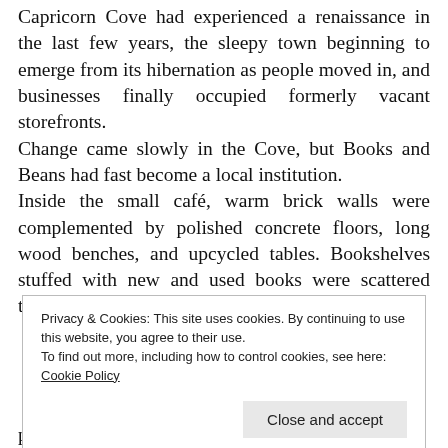Capricorn Cove had experienced a renaissance in the last few years, the sleepy town beginning to emerge from its hibernation as people moved in, and businesses finally occupied formerly vacant storefronts.
Change came slowly in the Cove, but Books and Beans had fast become a local institution.
Inside the small café, warm brick walls were complemented by polished concrete floors, long wood benches, and upcycled tables. Bookshelves stuffed with new and used books were scattered throughout the space, inviting diners to peruse as
Privacy & Cookies: This site uses cookies. By continuing to use this website, you agree to their use.
To find out more, including how to control cookies, see here:
Cookie Policy
[Close and accept]
position behind the counter. Dressed in a casual